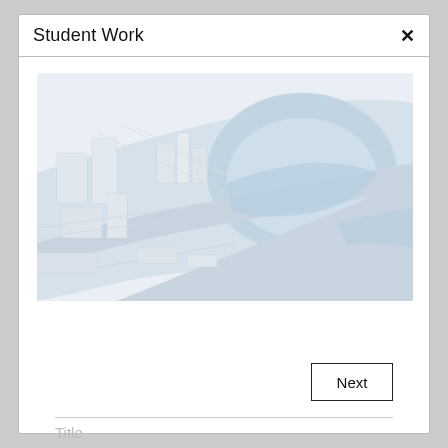Student Work
[Figure (photo): Aerial view of an architectural scale model showing buildings, open plazas, and a large circular structure with blue surfaces suggesting water features or open spaces, rendered in white and light blue tones.]
Next
Title